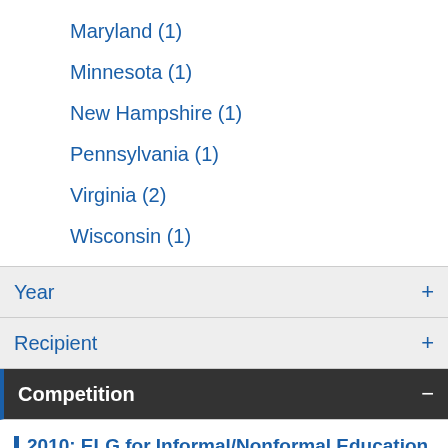Maryland (1)
Minnesota (1)
New Hampshire (1)
Pennsylvania (1)
Virginia (2)
Wisconsin (1)
Year +
Recipient +
Competition −
2010: ELG for Informal/Nonformal Education (1)
2020: ELG for Community Resilience to